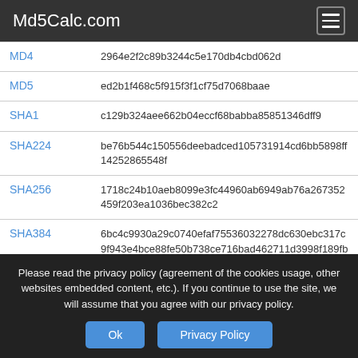Md5Calc.com
| Algorithm | Hash |
| --- | --- |
| MD4 | 2964e2f2c89b3244c5e170db4cbd062d |
| MD5 | ed2b1f468c5f915f3f1cf75d7068baae |
| SHA1 | c129b324aee662b04eccf68babba85851346dff9 |
| SHA224 | be76b544c150556deebadced105731914cd6bb5898ff14252865548f |
| SHA256 | 1718c24b10aeb8099e3fc44960ab6949ab76a267352459f203ea1036bec382c2 |
| SHA384 | 6bc4c9930a29c0740efaf75536032278dc630ebc317c9f943e4bce88fe50b738ce716bad462711d3998f189fbf4d142d |
Please read the privacy policy (agreement of the cookies usage, other websites embedded content, etc.). If you continue to use the site, we will assume that you agree with our privacy policy.